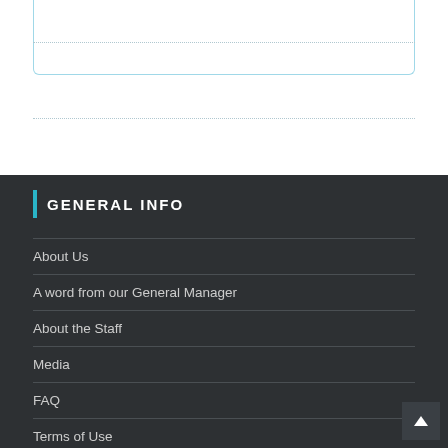GENERAL INFO
About Us
A word from our General Manager
About the Staff
Media
FAQ
Terms of Use
Contact Us